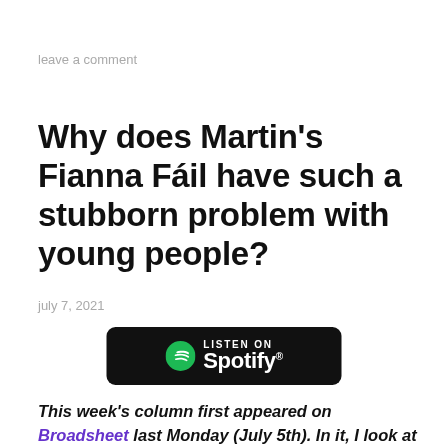leave a comment
Why does Martin's Fianna Fáil have such a stubborn problem with young people?
july 7, 2021
[Figure (logo): Spotify 'Listen on Spotify' badge — black rounded rectangle with Spotify logo and text]
This week's column first appeared on Broadsheet last Monday (July 5th). In it, I look at the argument on Fianna Fáil's real and demonstrable problems with young voters that mysteriously leaked out from the parliamentary party. Indeed, it is long past time for